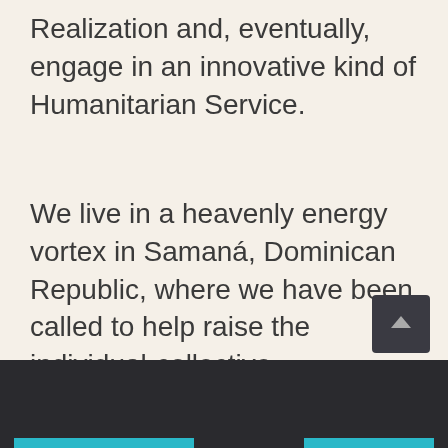Realization and, eventually, engage in an innovative kind of Humanitarian Service.
We live in a heavenly energy vortex in Samaná, Dominican Republic, where we have been called to help raise the individual-collective consciousness as we ALL reveal / fulfill our Soul's Purpose. We are fully committed to our Humanitarian Mission!